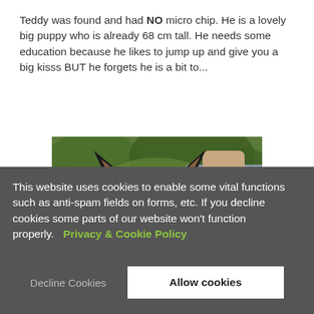Teddy was found and had NO micro chip. He is a lovely big puppy who is already 68 cm tall. He needs some education because he likes to jump up and give you a big kisss BUT he forgets he is a bit to...
[Figure (photo): A large tan/fawn dog with black markings around the eyes wearing an orange collar, tongue out, being held by a person in a grey shirt, outdoors with green foliage background.]
This website uses cookies to enable some vital functions such as anti-spam fields on forms, etc. If you decline cookies some parts of our website won't function properly.  Privacy & Cookie Policy
Decline Cookies
Allow cookies